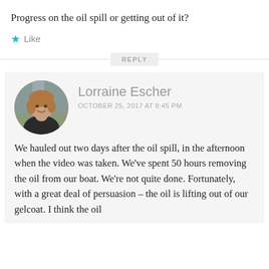Progress on the oil spill or getting out of it?
★ Like
REPLY
[Figure (photo): Circular avatar photo of Lorraine Escher, a woman smiling, outdoors near a waterfall]
Lorraine Escher
OCTOBER 25, 2017 AT 8:45 PM
We hauled out two days after the oil spill, in the afternoon when the video was taken. We've spent 50 hours removing the oil from our boat. We're not quite done. Fortunately, with a great deal of persuasion – the oil is lifting out of our gelcoat. I think the oil